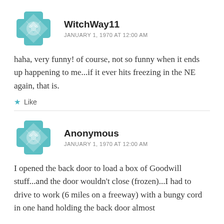[Figure (illustration): Teal/green decorative avatar icon with geometric cross and diamond pattern]
WitchWay11
JANUARY 1, 1970 AT 12:00 AM
haha, very funny! of course, not so funny when it ends up happening to me...if it ever hits freezing in the NE again, that is.
Like
[Figure (illustration): Teal/green decorative avatar icon with geometric cross and diamond pattern]
Anonymous
JANUARY 1, 1970 AT 12:00 AM
I opened the back door to load a box of Goodwill stuff...and the door wouldn't close (frozen)...I had to drive to work (6 miles on a freeway) with a bungy cord in one hand holding the back door almost